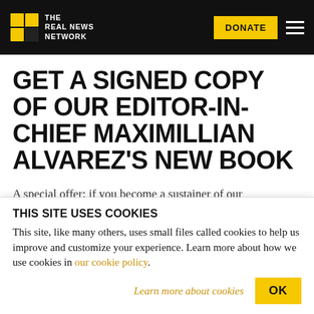THE REAL NEWS NETWORK | DONATE
GET A SIGNED COPY OF OUR EDITOR-IN-CHIEF MAXIMILLIAN ALVAREZ'S NEW BOOK
A special offer: if you become a sustainer of our
THIS SITE USES COOKIES
This site, like many others, uses small files called cookies to help us improve and customize your experience. Learn more about how we use cookies in our cookie policy.
Learn more about cookies | OK